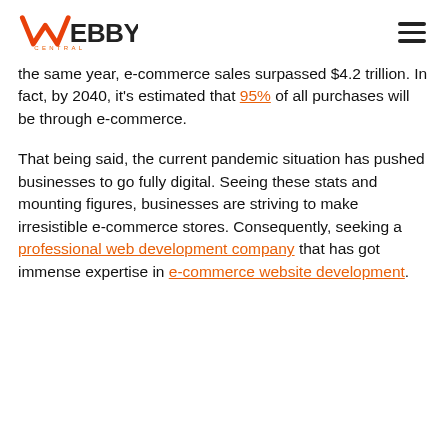WEBBY CENTRAL
the same year, e-commerce sales surpassed $4.2 trillion. In fact, by 2040, it's estimated that 95% of all purchases will be through e-commerce.
That being said, the current pandemic situation has pushed businesses to go fully digital. Seeing these stats and mounting figures, businesses are striving to make irresistible e-commerce stores. Consequently, seeking a professional web development company that has got immense expertise in e-commerce website development.